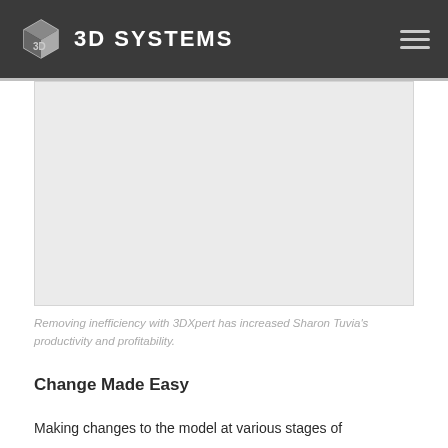3D SYSTEMS
[Figure (photo): Placeholder image area showing a light gray rectangle, representing a photo related to 3DXpert and Sharon Tuvia's productivity.]
Removing inefficiency with 3DXpert has increased Sharon Tuvia's productivity and profitability.
Change Made Easy
Making changes to the model at various stages of